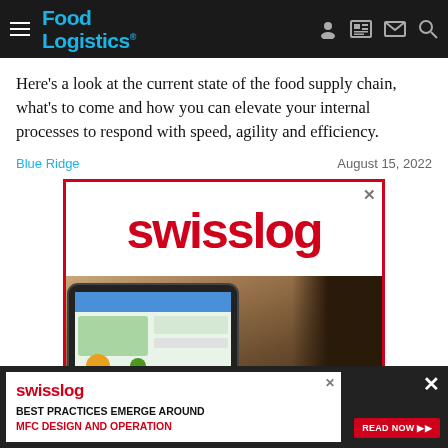Food Logistics
Here's a look at the current state of the food supply chain, what's to come and how you can elevate your internal processes to respond with speed, agility and efficiency.
Blue Ridge | August 15, 2022
[Figure (logo): Swisslog advertisement banner with red logo text and image of person using tablet with food ordering app, plus bottom sticky ad for 'Best Practices Emerge Around MFC Design and Operation' with Read Now button]